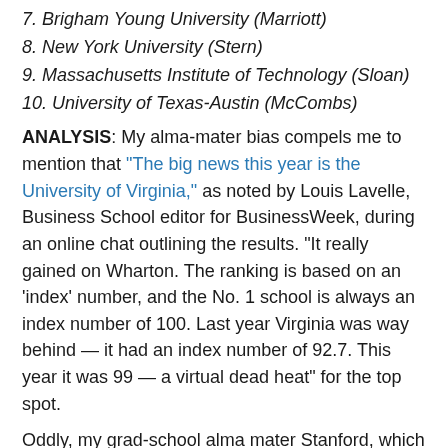7. Brigham Young University (Marriott)
8. New York University (Stern)
9. Massachusetts Institute of Technology (Sloan)
10. University of Texas-Austin (McCombs)
ANALYSIS: My alma-mater bias compels me to mention that “The big news this year is the University of Virginia,” as noted by Louis Lavelle, Business School editor for BusinessWeek, during an online chat outlining the results. “It really gained on Wharton. The ranking is based on an ‘index’ number, and the No. 1 school is always an index number of 100. Last year Virginia was way behind — it had an index number of 92.7. This year it was 99 — a virtual dead heat” for the top spot.
Oddly, my grad-school alma mater Stanford, which ranks high perennially on MBA program lists, has no